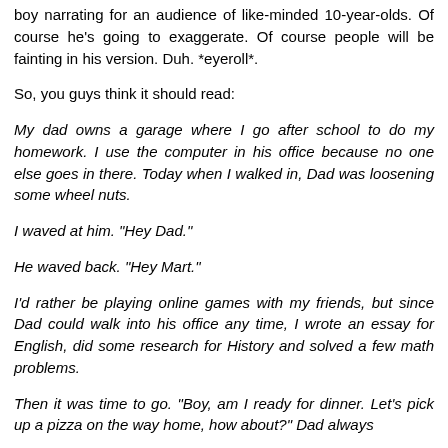boy narrating for an audience of like-minded 10-year-olds. Of course he's going to exaggerate. Of course people will be fainting in his version. Duh. *eyeroll*.
So, you guys think it should read:
My dad owns a garage where I go after school to do my homework. I use the computer in his office because no one else goes in there. Today when I walked in, Dad was loosening some wheel nuts.
I waved at him. "Hey Dad."
He waved back. "Hey Mart."
I'd rather be playing online games with my friends, but since Dad could walk into his office any time, I wrote an essay for English, did some research for History and solved a few math problems.
Then it was time to go. "Boy, am I ready for dinner. Let's pick up a pizza on the way home, how about?" Dad always